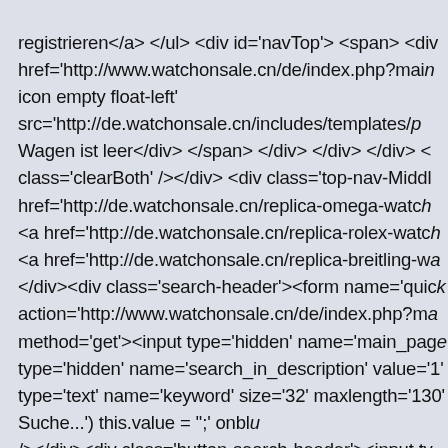registrieren</a> </ul> <div id='navTop'> <span> <div href='http://www.watchonsale.cn/de/index.php?main icon empty float-left' src='http://de.watchonsale.cn/includes/templates/p Wagen ist leer</div> </span> </div> </div> </div> < class='clearBoth' /></div> <div class='top-nav-Middl href='http://de.watchonsale.cn/replica-omega-watch <a href='http://de.watchonsale.cn/replica-rolex-watc <a href='http://de.watchonsale.cn/replica-breitling-wa </div><div class='search-header'><form name='quick action='http://www.watchonsale.cn/de/index.php?ma method='get'><input type='hidden' name='main_page type='hidden' name='search_in_description' value='1' type='text' name='keyword' size='32' maxlength='130' onfocus='if (this.value == 'Suche...') this.value = '';' onblu /></div><div class='button-search-header'><input ty src='http://de.watchonsale.cn/includes/templates/p value='Serch' /></div></form></div> </div> <div id= border='0' cellspacing='0' cellpadding='0' id='content id='navColumnOne' class='columnLeft' style='heighth